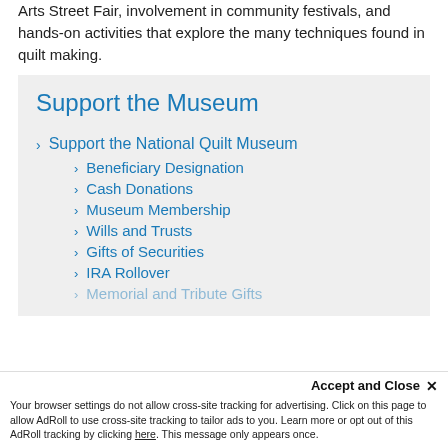Arts Street Fair, involvement in community festivals, and hands-on activities that explore the many techniques found in quilt making.
Support the Museum
> Support the National Quilt Museum
> Beneficiary Designation
> Cash Donations
> Museum Membership
> Wills and Trusts
> Gifts of Securities
> IRA Rollover
> Memorial and Tribute Gifts
Accept and Close ✕ Your browser settings do not allow cross-site tracking for advertising. Click on this page to allow AdRoll to use cross-site tracking to tailor ads to you. Learn more or opt out of this AdRoll tracking by clicking here. This message only appears once.